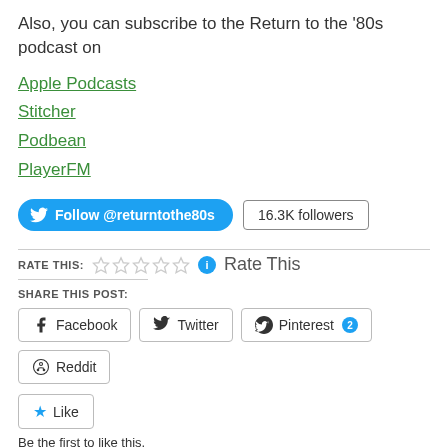Also, you can subscribe to the Return to the '80s podcast on
Apple Podcasts
Stitcher
Podbean
PlayerFM
[Figure (other): Twitter Follow button for @returntothe80s with 16.3K followers count badge]
RATE THIS: (5 empty stars) Rate This
SHARE THIS POST: Facebook, Twitter, Pinterest 2, Reddit buttons
Like button — Be the first to like this.